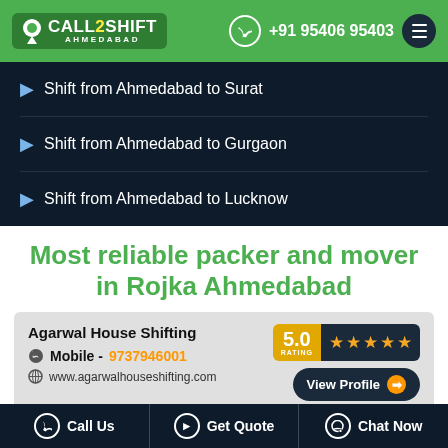CALL2SHIFT AHMEDABAD | +91 95406 95403
Shift from Ahmedabad to Surat
Shift from Ahmedabad to Gurgaon
Shift from Ahmedabad to Lucknow
Most reliable packer and mover in Rojka Ahmedabad
| Company | Rating | Action |
| --- | --- | --- |
| Agarwal House Shifting | 5.0 | View Profile |
| Mobile - 9737946001 |  |  |
| www.agarwalhouseshifting.com |  |  |
Call Us | Get Quote | Chat Now